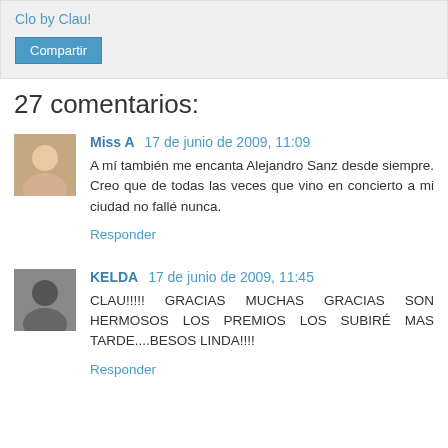Clo by Clau!
Compartir
27 comentarios:
Miss A  17 de junio de 2009, 11:09
A mí también me encanta Alejandro Sanz desde siempre. Creo que de todas las veces que vino en concierto a mi ciudad no fallé nunca.
Responder
KELDA  17 de junio de 2009, 11:45
CLAU!!!!! GRACIAS MUCHAS GRACIAS SON HERMOSOS LOS PREMIOS LOS SUBIRÉ MAS TARDE....BESOS LINDA!!!!
Responder